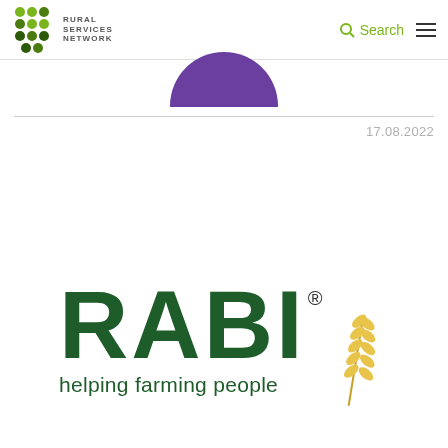Rural Services Network | Search
[Figure (illustration): Bottom portion of a purple circle/arc shape visible at top center of page]
17.08.2022
[Figure (logo): RABI logo with large green text 'RABI' with registered trademark symbol, a golden wheat stalk illustration, and tagline 'helping farming people' in green]